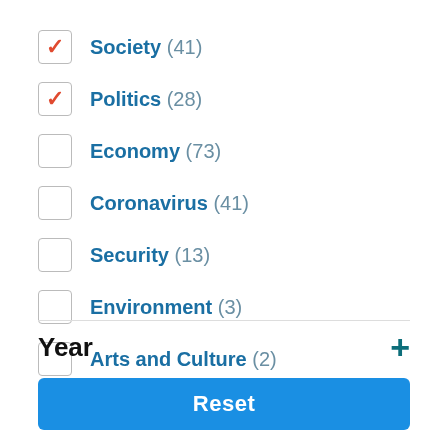Society (41) — checked
Politics (28) — checked
Economy (73)
Coronavirus (41)
Security (13)
Environment (3)
Arts and Culture (2)
Year
Reset